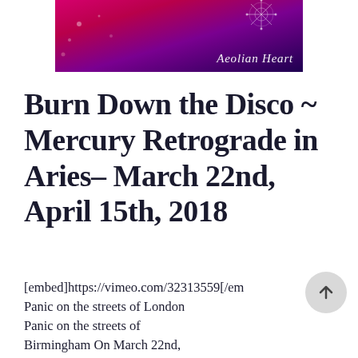[Figure (illustration): Banner image with pink and purple gradient background, decorative snowflake/web pattern in top right corner, italic script text 'Aeolian Heart' in white at bottom right]
Burn Down the Disco ~ Mercury Retrograde in Aries- March 22nd, April 15th, 2018
[embed]https://vimeo.com/32313559[/em Panic on the streets of London Panic on the streets of Birmingham On March 22nd, 2018 Mercury will commence his